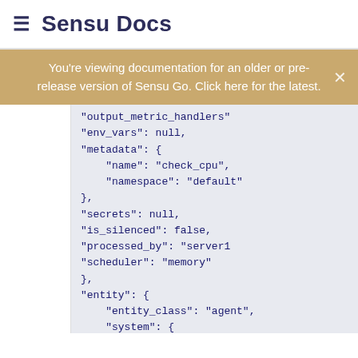≡ Sensu Docs
You're viewing documentation for an older or pre-release version of Sensu Go. Click here for the latest.
"output_metric_handlers"
"env_vars": null,
"metadata": {
    "name": "check_cpu",
    "namespace": "default"
},
"secrets": null,
"is_silenced": false,
"processed_by": "server1
"scheduler": "memory"
},
"entity": {
    "entity_class": "agent",
    "system": {